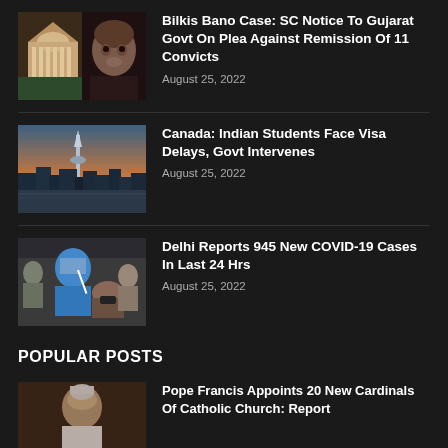[Figure (photo): Supreme Court building and a woman's face composite photo]
Bilkis Bano Case: SC Notice To Gujarat Govt On Plea Against Remission Of 11 Convicts
August 25, 2022
[Figure (photo): Toronto city skyline at dusk with CN Tower]
Canada: Indian Students Face Visa Delays, Govt Intervenes
August 25, 2022
[Figure (photo): Healthcare workers performing COVID-19 testing]
Delhi Reports 945 New COVID-19 Cases In Last 24 Hrs
August 25, 2022
POPULAR POSTS
[Figure (photo): Pope Francis photo]
Pope Francis Appoints 20 New Cardinals Of Catholic Church: Report